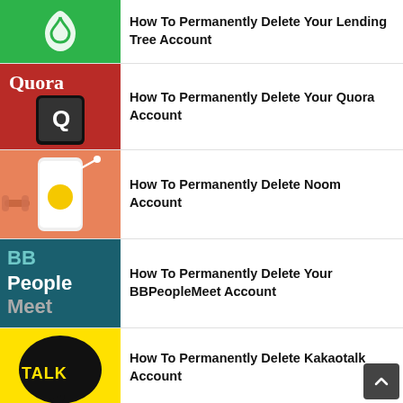How To Permanently Delete Your Lending Tree Account
How To Permanently Delete Your Quora Account
How To Permanently Delete Noom Account
How To Permanently Delete Your BBPeopleMeet Account
How To Permanently Delete Kakaotalk Account